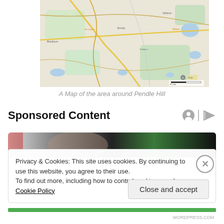[Figure (map): A map showing the area around Pendle Hill with roads, towns, and geographic features visible]
A Map of the area around Pendle Hill
Sponsored Content
[Figure (photo): Partial photo of a person or animal, dark toned, used as sponsored content image]
Privacy & Cookies: This site uses cookies. By continuing to use this website, you agree to their use.
To find out more, including how to control cookies, see here: Cookie Policy
Close and accept